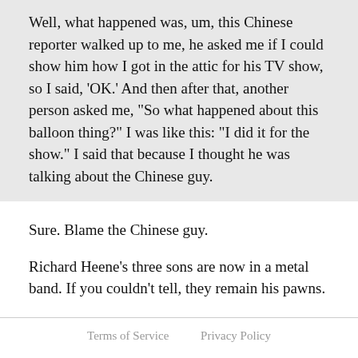Well, what happened was, um, this Chinese reporter walked up to me, he asked me if I could show him how I got in the attic for his TV show, so I said, 'OK.' And then after that, another person asked me, "So what happened about this balloon thing?" I was like this: "I did it for the show." I said that because I thought he was talking about the Chinese guy.
Sure. Blame the Chinese guy.
Richard Heene's three sons are now in a metal band. If you couldn't tell, they remain his pawns.
Terms of Service    Privacy Policy